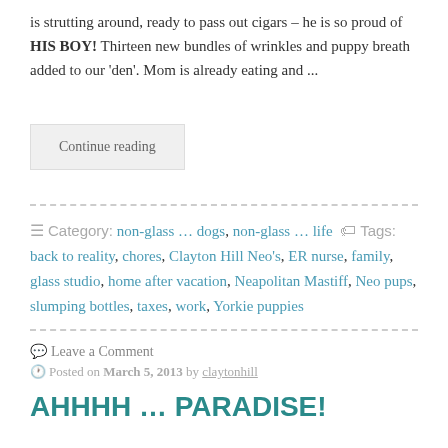is strutting around, ready to pass out cigars – he is so proud of HIS BOY!    Thirteen new bundles of wrinkles and puppy breath added to our 'den'.  Mom is already eating and ...
Continue reading
☰ Category: non-glass … dogs, non-glass … life  🏷 Tags: back to reality, chores, Clayton Hill Neo's, ER nurse, family, glass studio, home after vacation, Neapolitan Mastiff, Neo pups, slumping bottles, taxes, work, Yorkie puppies
💬 Leave a Comment
🕐 Posted on March 5, 2013 by claytonhill
AHHHH … PARADISE!